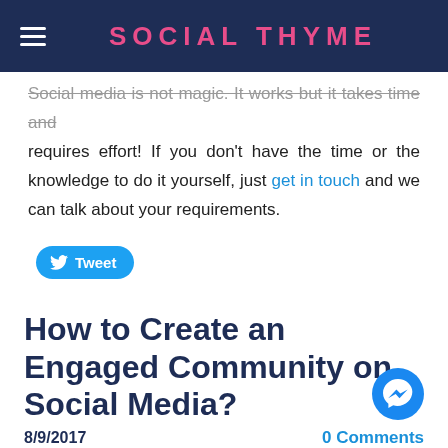SOCIAL THYME
Social media is not magic. It works but it takes time and requires effort! If you don't have the time or the knowledge to do it yourself, just get in touch and we can talk about your requirements.
[Figure (other): Twitter Tweet button (blue pill-shaped button with bird icon and 'Tweet' label)]
How to Create an Engaged Community on Social Media?
8/9/2017
0 Comments